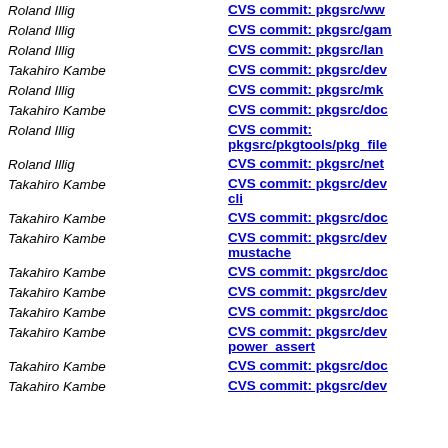Roland Illig — CVS commit: pkgsrc/www...
Roland Illig — CVS commit: pkgsrc/games...
Roland Illig — CVS commit: pkgsrc/lang...
Takahiro Kambe — CVS commit: pkgsrc/devel...
Roland Illig — CVS commit: pkgsrc/mk...
Takahiro Kambe — CVS commit: pkgsrc/doc...
Roland Illig — CVS commit: pkgsrc/pkgtools/pkg_files...
Roland Illig — CVS commit: pkgsrc/net...
Takahiro Kambe — CVS commit: pkgsrc/devel...cli
Takahiro Kambe — CVS commit: pkgsrc/doc...
Takahiro Kambe — CVS commit: pkgsrc/devel...mustache
Takahiro Kambe — CVS commit: pkgsrc/doc...
Takahiro Kambe — CVS commit: pkgsrc/devel...
Takahiro Kambe — CVS commit: pkgsrc/doc...
Takahiro Kambe — CVS commit: pkgsrc/devel...power_assert
Takahiro Kambe — CVS commit: pkgsrc/doc...
Takahiro Kambe — CVS commit: pkgsrc/devel...